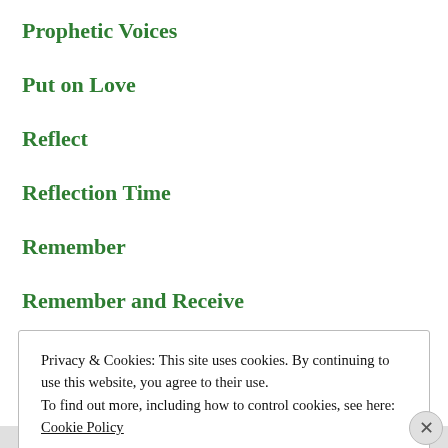Prophetic Voices
Put on Love
Reflect
Reflection Time
Remember
Remember and Receive
Privacy & Cookies: This site uses cookies. By continuing to use this website, you agree to their use. To find out more, including how to control cookies, see here: Cookie Policy
Close and accept